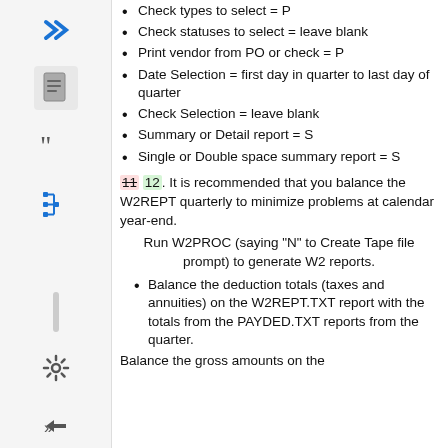Check types to select = P
Check statuses to select = leave blank
Print vendor from PO or check = P
Date Selection = first day in quarter to last day of quarter
Check Selection = leave blank
Summary or Detail report = S
Single or Double space summary report = S
12. It is recommended that you balance the W2REPT quarterly to minimize problems at calendar year-end.
Run W2PROC (saying "N" to Create Tape file prompt) to generate W2 reports.
Balance the deduction totals (taxes and annuities) on the W2REPT.TXT report with the totals from the PAYDED.TXT reports from the quarter.
Balance the gross amounts on the